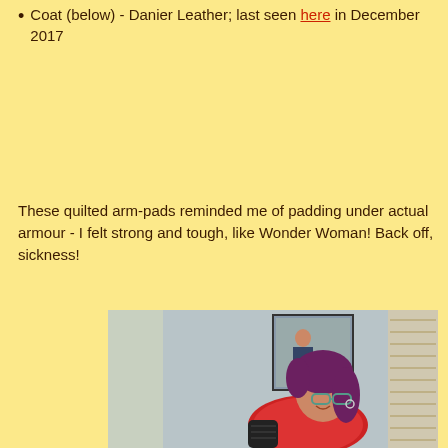Coat (below) - Danier Leather; last seen here in December 2017
These quilted arm-pads reminded me of padding under actual armour - I felt strong and tough, like Wonder Woman! Back off, sickness!
[Figure (photo): Woman with purple hair wearing red top and dark quilted arm sleeve, standing indoors with framed picture on wall behind her]